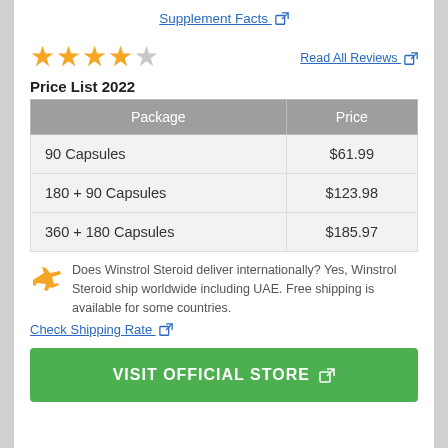Supplement Facts ↗
[Figure (other): 4.5 out of 5 stars rating displayed as orange star icons]
Read All Reviews ↗
Price List 2022
| Package | Price |
| --- | --- |
| 90 Capsules | $61.99 |
| 180 + 90 Capsules | $123.98 |
| 360 + 180 Capsules | $185.97 |
Does Winstrol Steroid deliver internationally? Yes, Winstrol Steroid ship worldwide including UAE. Free shipping is available for some countries.
Check Shipping Rate ↗
VISIT OFFICIAL STORE ↗